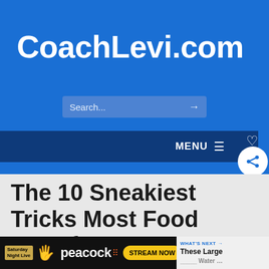CoachLevi.com
[Figure (screenshot): Search bar with placeholder text 'Search...' and right arrow on blue background]
[Figure (screenshot): Dark navy navigation bar with MENU text and hamburger icon, heart icon, and circular share button]
The 10 Sneakiest Tricks Most Food Manufacturers Pl...
[Figure (screenshot): Peacock advertisement banner with Saturday Night Live branding and STREAM NOW button]
[Figure (screenshot): WHAT'S NEXT sidebar showing 'These Large' teaser]